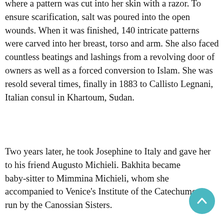where a pattern was cut into her skin with a razor. To ensure scarification, salt was poured into the open wounds. When it was finished, 140 intricate patterns were carved into her breast, torso and arm. She also faced countless beatings and lashings from a revolving door of owners as well as a forced conversion to Islam. She was resold several times, finally in 1883 to Callisto Legnani, Italian consul in Khartoum, Sudan.
Two years later, he took Josephine to Italy and gave her to his friend Augusto Michieli. Bakhita became baby-sitter to Mimmina Michieli, whom she accompanied to Venice's Institute of the Catechumens, run by the Canossian Sisters.